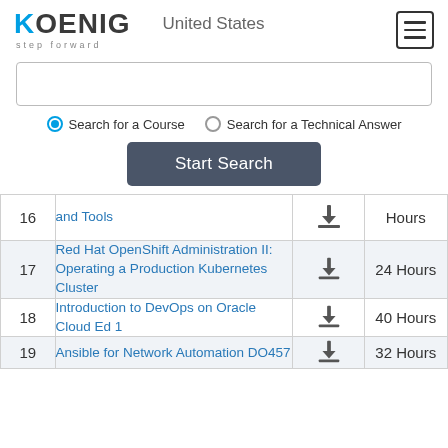[Figure (logo): Koenig Solutions logo with 'step forward' tagline]
United States
Search for a Course  Search for a Technical Answer
Start Search
| # | Course Name |  | Hours |
| --- | --- | --- | --- |
| 16 | and Tools |  | Hours |
| 17 | Red Hat OpenShift Administration II: Operating a Production Kubernetes Cluster |  | 24 Hours |
| 18 | Introduction to DevOps on Oracle Cloud Ed 1 |  | 40 Hours |
| 19 | Ansible for Network Automation DO457 |  | 32 Hours |